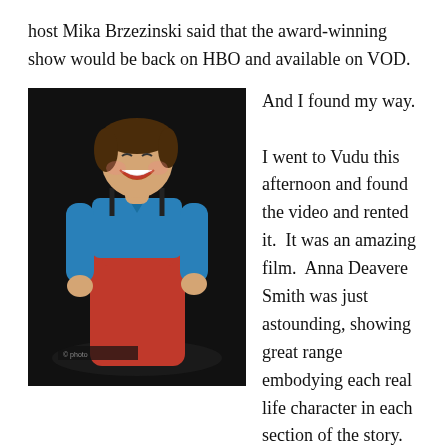host Mika Brzezinski said that the award-winning show would be back on HBO and available on VOD.
[Figure (photo): A woman wearing a blue shirt and red overalls/waders laughing, photographed against a dark background on a stage.]
And I found my way.

I went to Vudu this afternoon and found the video and rented it.  It was an amazing film.  Anna Deavere Smith was just astounding, showing great range embodying each real life character in each section of the story.  Through her singular monologues, Smith revealed the tragic circumstances of each story.  The presentation of the stories were aided by a stand up bass, some artistic background sets and some horrifying pieces of video